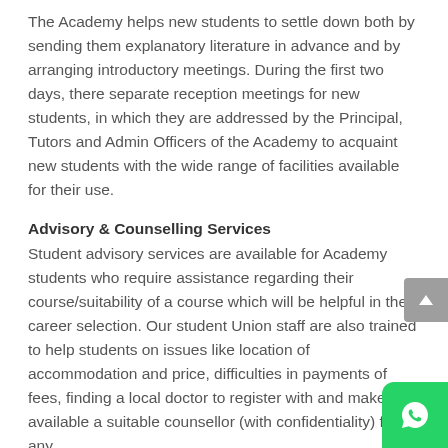The Academy helps new students to settle down both by sending them explanatory literature in advance and by arranging introductory meetings. During the first two days, there separate reception meetings for new students, in which they are addressed by the Principal, Tutors and Admin Officers of the Academy to acquaint new students with the wide range of facilities available for their use.
Advisory & Counselling Services
Student advisory services are available for Academy students who require assistance regarding their course/suitability of a course which will be helpful in their career selection. Our student Union staff are also trained to help students on issues like location of accommodation and price, difficulties in payments of fees, finding a local doctor to register with and make available a suitable counsellor (with confidentiality) for any